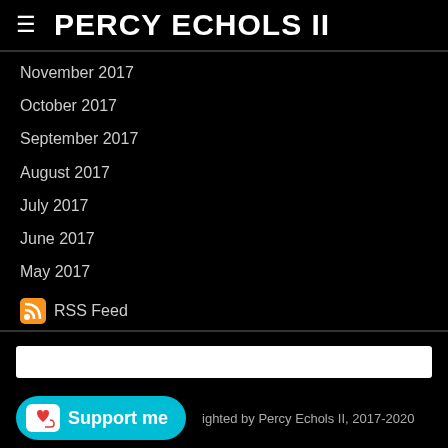PERCY ECHOLS II
November 2017
October 2017
September 2017
August 2017
July 2017
June 2017
May 2017
RSS Feed
Private Policy
Disclaimer
Support me
ighted by Percy Echols II, 2017-2020